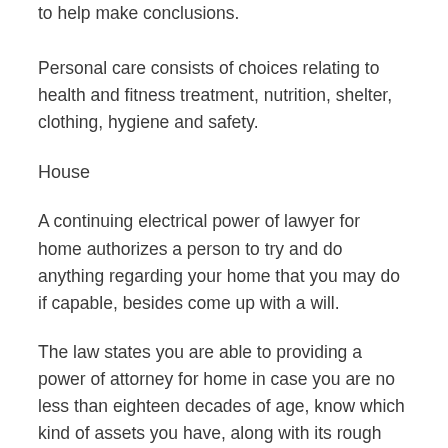to help make conclusions.
Personal care consists of choices relating to health and fitness treatment, nutrition, shelter, clothing, hygiene and safety.
House
A continuing electrical power of lawyer for home authorizes a person to try and do anything regarding your home that you may do if capable, besides come up with a will.
The law states you are able to providing a power of attorney for home in case you are no less than eighteen decades of age, know which kind of assets you have, along with its rough value, and are aware of any